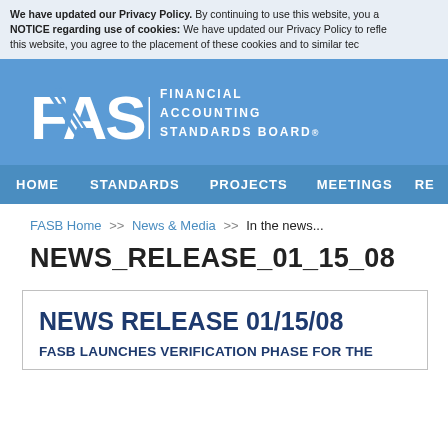We have updated our Privacy Policy. By continuing to use this website, you a... NOTICE regarding use of cookies: We have updated our Privacy Policy to refle... this website, you agree to the placement of these cookies and to similar tech...
[Figure (logo): FASB Financial Accounting Standards Board logo in white on blue background]
HOME   STANDARDS   PROJECTS   MEETINGS   RE...
FASB Home >> News & Media >> In the news...
NEWS_RELEASE_01_15_08
NEWS RELEASE 01/15/08
FASB LAUNCHES VERIFICATION PHASE FOR THE